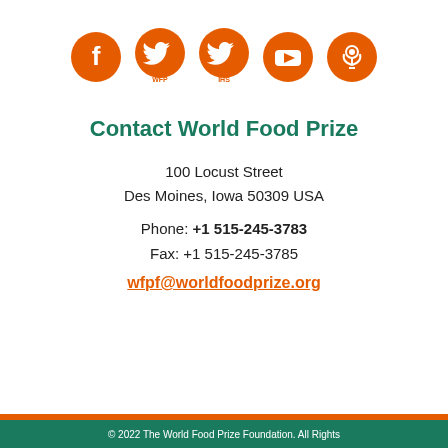[Figure (infographic): Five orange social media icons: Facebook, Twitter (WFP), Twitter (IHS), YouTube, Podcast]
Contact World Food Prize
100 Locust Street
Des Moines, Iowa 50309 USA
Phone: +1 515-245-3783
Fax: +1 515-245-3785
wfpf@worldfoodprize.org
© 2022 The World Food Prize Foundation. All Rights